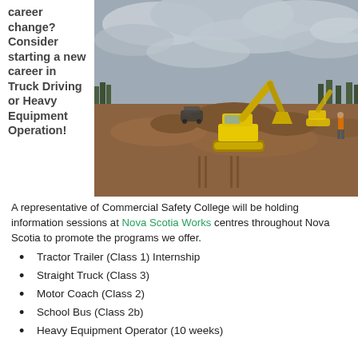career change? Consider starting a new career in Truck Driving or Heavy Equipment Operation!
[Figure (photo): A yellow excavator working on a large dirt/gravel construction site with overcast sky, trees in background and a person in orange safety vest visible.]
A representative of Commercial Safety College will be holding information sessions at Nova Scotia Works centres throughout Nova Scotia to promote the programs we offer.
Tractor Trailer (Class 1) Internship
Straight Truck (Class 3)
Motor Coach (Class 2)
School Bus (Class 2b)
Heavy Equipment Operator (10 weeks)